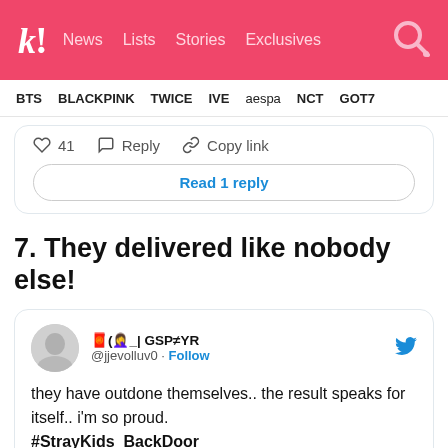k! News Lists Stories Exclusives
BTS  BLACKPINK  TWICE  IVE  aespa  NCT  GOT7
[Figure (screenshot): Tweet action bar showing heart icon, 41 likes, Reply button, Copy link button, and a Read 1 reply button]
7. They delivered like nobody else!
[Figure (screenshot): Embedded tweet from @jjevolluv0 with display name showing GSP≠YR: 'they have outdone themselves.. the result speaks for itself.. i'm so proud. #StrayKids_BackDoor']